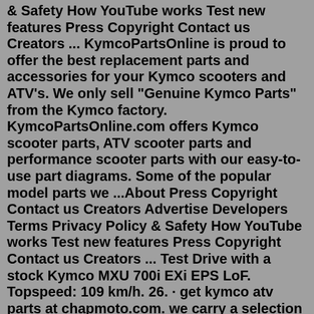& Safety How YouTube works Test new features Press Copyright Contact us Creators ... KymcoPartsOnline is proud to offer the best replacement parts and accessories for your Kymco scooters and ATV's. We only sell "Genuine Kymco Parts" from the Kymco factory. KymcoPartsOnline.com offers Kymco scooter parts, ATV scooter parts and performance scooter parts with our easy-to-use part diagrams. Some of the popular model parts we ...About Press Copyright Contact us Creators Advertise Developers Terms Privacy Policy & Safety How YouTube works Test new features Press Copyright Contact us Creators ... Test Drive with a stock Kymco MXU 700i EXi EPS LoF. Topspeed: 109 km/h. 26. · get kymco atv parts at chapmoto.com. we carry a selection of ... efi irs mxu 500i camo mxu 500i camo eps mxu 500i irs 4x4 mxu 500i irs 4x4 le mxu 500i le mxu 500i le 50th anniversary mxu 700i mxu 700i 4x4 efi irs mxu 700i 4x4 le efi irs mxu 700i camo mxu 700i camo eps mxu 700i euro mxu 700i le mxu 700i le 50th anniversary